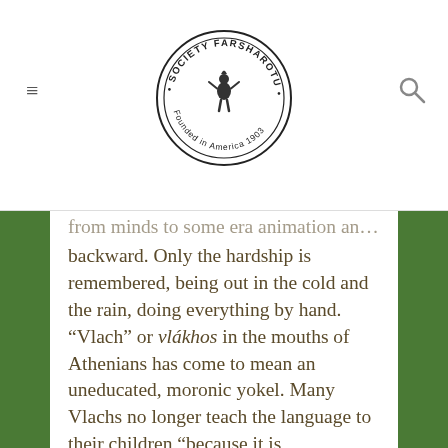Society Farsharotu — Founded in America 1903
from minds to some era animation and backward. Only the hardship is remembered, being out in the cold and the rain, doing everything by hand. “Vlach” or vlákhos in the mouths of Athenians has come to mean an uneducated, moronic yokel. Many Vlachs no longer teach the language to their children “because it is demeaning.”
Doubt creeps in. Self-esteem is damaged, and it is harder to make ends meet in the new economic conditions. “A hired shepherd costs half a million drachmas for six months, and no one